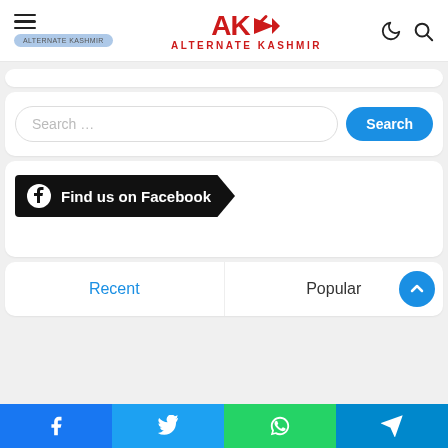Alternate Kashmir
[Figure (screenshot): Search bar with text 'Search ...' and a blue 'Search' button]
[Figure (screenshot): Black banner with Facebook icon and text 'Find us on Facebook' with chevron shape]
[Figure (screenshot): Tab row with 'Recent' (blue) and 'Popular' tabs, and a blue scroll-to-top button]
[Figure (screenshot): Social share bar at bottom with Facebook, Twitter, WhatsApp, and Telegram icons]